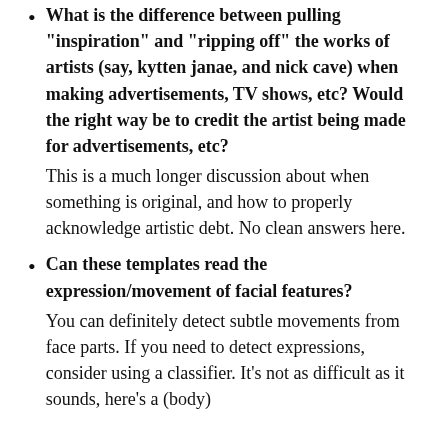What is the difference between pulling "inspiration" and "ripping off" the works of artists (say, kytten janae, and nick cave) when making advertisements, TV shows, etc? Would the right way be to credit the artist being made for advertisements, etc? This is a much longer discussion about when something is original, and how to properly acknowledge artistic debt. No clean answers here.
Can these templates read the expression/movement of facial features? You can definitely detect subtle movements from face parts. If you need to detect expressions, consider using a classifier. It's not as difficult as it sounds, here's a (body)